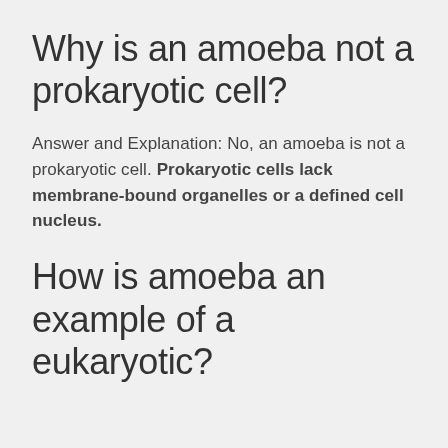Why is an amoeba not a prokaryotic cell?
Answer and Explanation: No, an amoeba is not a prokaryotic cell. Prokaryotic cells lack membrane-bound organelles or a defined cell nucleus.
How is amoeba an example of a eukaryotic?